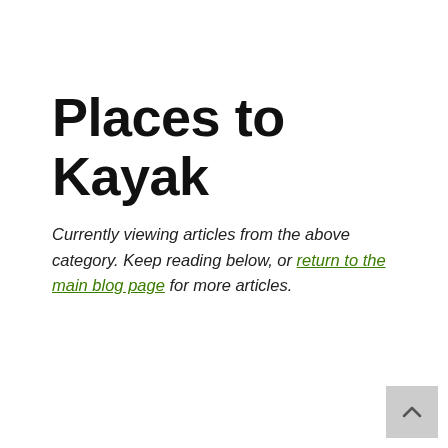Places to Kayak
Currently viewing articles from the above category. Keep reading below, or return to the main blog page for more articles.